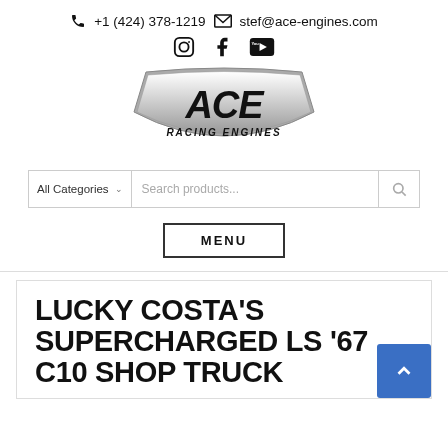+1 (424) 378-1219   stef@ace-engines.com
[Figure (logo): ACE Racing Engines logo — stylized silver/gray badge with italic ACE lettering and RACING ENGINES below]
[Figure (other): Search bar with All Categories dropdown and Search products... placeholder]
MENU
LUCKY COSTA'S SUPERCHARGED LS '67 C10 SHOP TRUCK